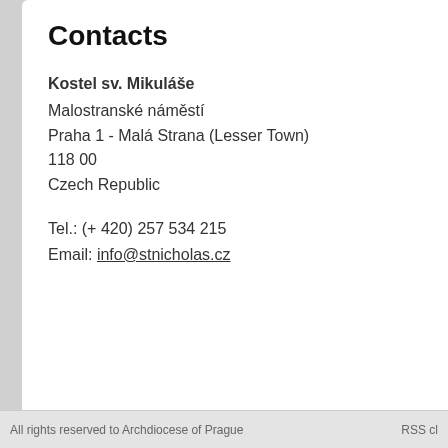Contacts
Kostel sv. Mikuláše
Malostranské náměstí
Praha 1 - Malá Strana (Lesser Town)
118 00
Czech Republic
Tel.: (+ 420) 257 534 215
Email: info@stnicholas.cz
More Contacts
[Figure (photo): Black and white photo of a man in a dark suit holding a trumpet]
Tru
[Figure (photo): Color photo of a blonde woman against a red background, seated, resting her chin on her hand]
Draho
Organ
Author: Petr Koronthály  |  S
All rights reserved to Archdiocese of Prague   RSS cl